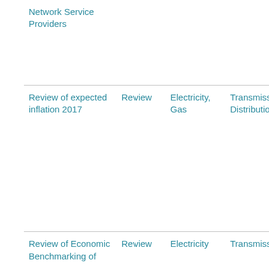|  |  |  |  |  |
| --- | --- | --- | --- | --- |
| Network Service Providers |  |  |  | Queensland Tasmania South Australia Northern Territory |
| Review of expected inflation 2017 | Review | Electricity, Gas | Transmission, Distribution | Australian Capital Territory, South Wa... Victoria, Queensland Tasmania South Australia Northern Territory |
| Review of Economic Benchmarking of | Review | Electricity | Transmission | Australian Capital Territory, South Wa... |